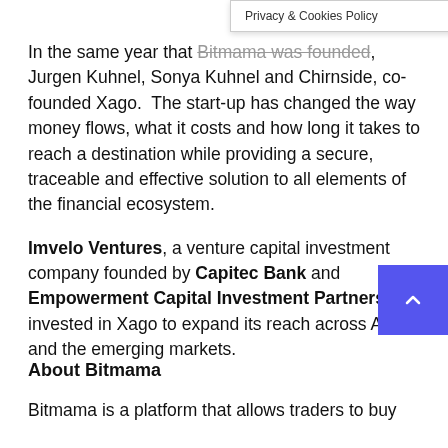Privacy & Cookies Policy
In the same year that Bitmama was founded, Jurgen Kuhnel, Sonya Kuhnel and Chirnside, co-founded Xago.  The start-up has changed the way money flows, what it costs and how long it takes to reach a destination while providing a secure, traceable and effective solution to all elements of the financial ecosystem.
Imvelo Ventures, a venture capital investment company founded by Capitec Bank and Empowerment Capital Investment Partners invested in Xago to expand its reach across Africa and the emerging markets.
About Bitmama
Bitmama is a platform that allows traders to buy